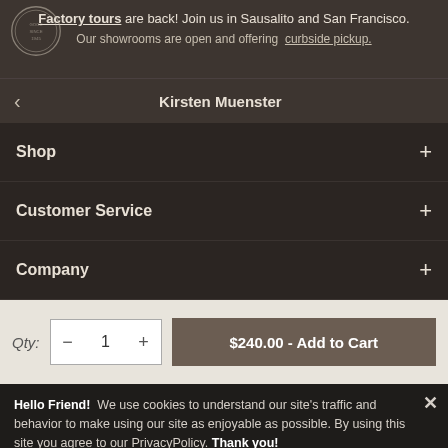Factory tours are back! Join us in Sausalito and San Francisco. Our showrooms are open and offering curbside pickup.
Kirsten Muenster
Shop
Customer Service
Company
Qty: 1  $240.00 - Add to Cart
Hello Friend! We use cookies to understand our site’s traffic and behavior to make using our site as enjoyable as possible. By using this site you agree to our PrivacyPolicy. Thank you!